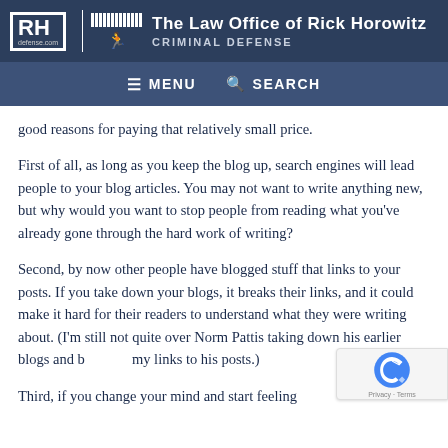[Figure (logo): The Law Office of Rick Horowitz header with RH logo, fence icon, running man icon, site title and CRIMINAL DEFENSE subtitle]
≡ MENU   🔍 SEARCH
good reasons for paying that relatively small price.
First of all, as long as you keep the blog up, search engines will lead people to your blog articles. You may not want to write anything new, but why would you want to stop people from reading what you've already gone through the hard work of writing?
Second, by now other people have blogged stuff that links to your posts. If you take down your blogs, it breaks their links, and it could make it hard for their readers to understand what they were writing about. (I'm still not quite over Norm Pattis taking down his earlier blogs and breaking my links to his posts.)
Third, if you change your mind and start feeling